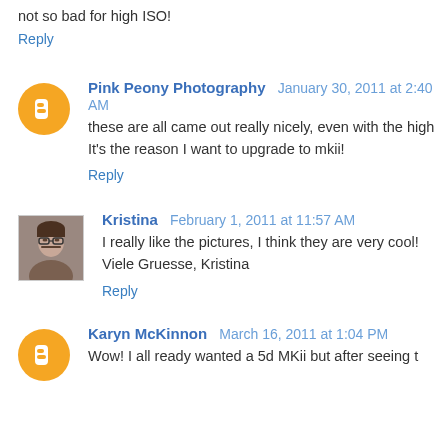not so bad for high ISO!
Reply
Pink Peony Photography   January 30, 2011 at 2:40 AM
these are all came out really nicely, even with the high ISO. It's the reason I want to upgrade to mkii!
Reply
Kristina   February 1, 2011 at 11:57 AM
I really like the pictures, I think they are very cool! Viele Gruesse, Kristina
Reply
Karyn McKinnon   March 16, 2011 at 1:04 PM
Wow! I all ready wanted a 5d MKii but after seeing t...